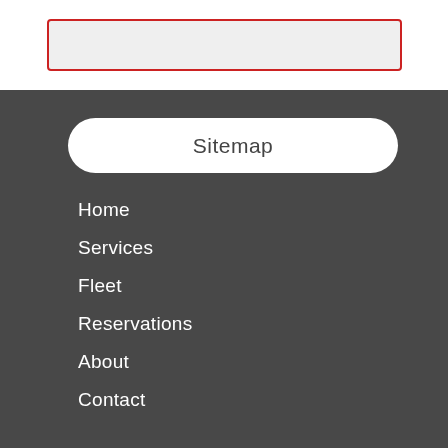[Figure (other): A search/input box with light gray fill and red border outline]
Sitemap
Home
Services
Fleet
Reservations
About
Contact